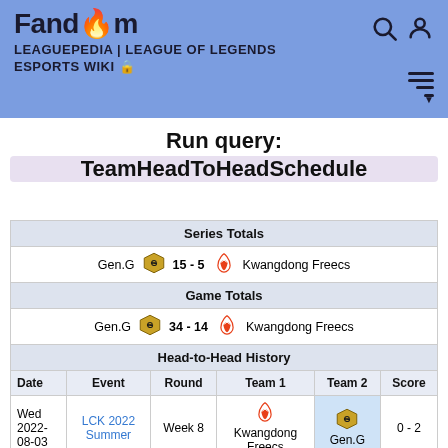Fandom | LEAGUEPEDIA | LEAGUE OF LEGENDS ESPORTS WIKI
Run query: TeamHeadToHeadSchedule
| Date | Event | Round | Team 1 | Team 2 | Score |
| --- | --- | --- | --- | --- | --- |
| Series Totals |  |  |  |  |  |
| Gen.G |  | 15 - 5 |  | Kwangdong Freecs |  |
| Game Totals |  |  |  |  |  |
| Gen.G |  | 34 - 14 |  | Kwangdong Freecs |  |
| Head-to-Head History |  |  |  |  |  |
| Wed 2022-08-03 | LCK 2022 Summer | Week 8 | Kwangdong Freecs | Gen.G | 0 - 2 |